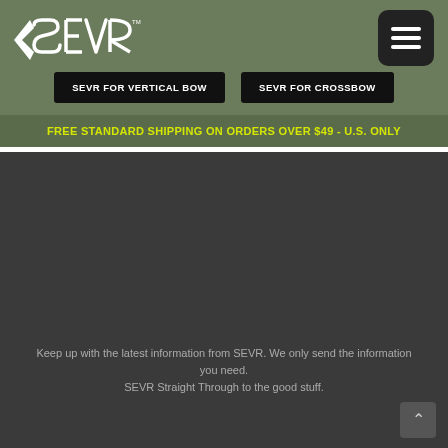[Figure (logo): SEVR brand logo in white on olive green background]
[Figure (other): Hamburger menu icon button (three white horizontal lines) on dark rounded square background]
SEVR FOR VERTICAL BOW
SEVR FOR CROSSBOW
FREE STANDARD SHIPPING ON ORDERS OVER $49 - U.S. ONLY
Keep up with the latest information from SEVR.  We only send the information you need.
SEVR Straight Through to the good stuff.